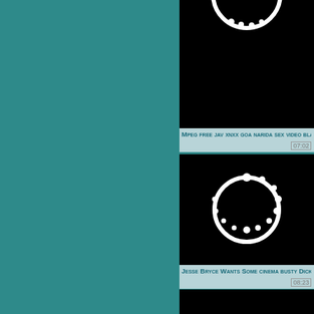[Figure (screenshot): Video thumbnail showing black screen with white spinner circle, partial view at top]
Mpeg free jav xnxx goa narida sex video blac...
07:02
[Figure (screenshot): Video thumbnail showing black screen with white circular spinner/loading icon centered]
Jesse Bryce Wants Some cinema busty Dick
08:23
[Figure (screenshot): Video thumbnail showing black screen with white circular spinner/loading icon centered, partial view at bottom]